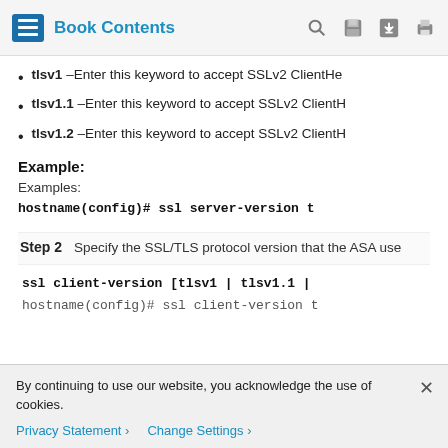Book Contents
tlsv1 –Enter this keyword to accept SSLv2 ClientHe
tlsv1.1 –Enter this keyword to accept SSLv2 ClientH
tlsv1.2 –Enter this keyword to accept SSLv2 ClientH
Example:
Examples:
hostname(config)# ssl server-version t
Step 2  Specify the SSL/TLS protocol version that the ASA use
ssl client-version [tlsv1 | tlsv1.1 |
hostname(config)# ssl client-version t
By continuing to use our website, you acknowledge the use of cookies.
Privacy Statement > Change Settings >